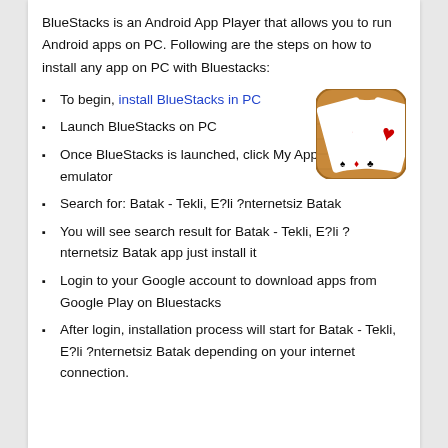BlueStacks is an Android App Player that allows you to run Android apps on PC. Following are the steps on how to install any app on PC with Bluestacks:
To begin, install BlueStacks in PC
Launch BlueStacks on PC
Once BlueStacks is launched, click My Apps button in the emulator
Search for: Batak - Tekli, E?li ?nternetsiz Batak
You will see search result for Batak - Tekli, E?li ?nternetsiz Batak app just install it
Login to your Google account to download apps from Google Play on Bluestacks
After login, installation process will start for Batak - Tekli, E?li ?nternetsiz Batak depending on your internet connection.
[Figure (illustration): App icon for Batak card game showing playing cards (spades, hearts, diamonds, clubs) on a wooden background with rounded corners]